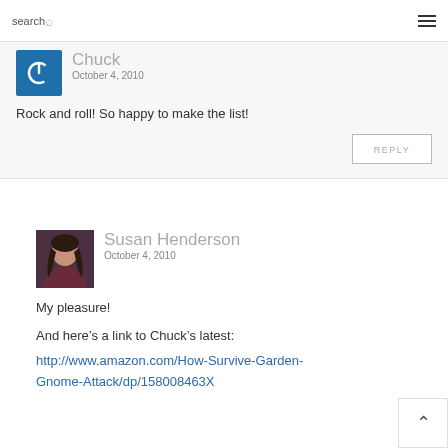search
Chuck
October 4, 2010
Rock and roll! So happy to make the list!
REPLY
Susan Henderson
October 4, 2010
My pleasure!
And here's a link to Chuck's latest:
http://www.amazon.com/How-Survive-Garden-Gnome-Attack/dp/158008463X